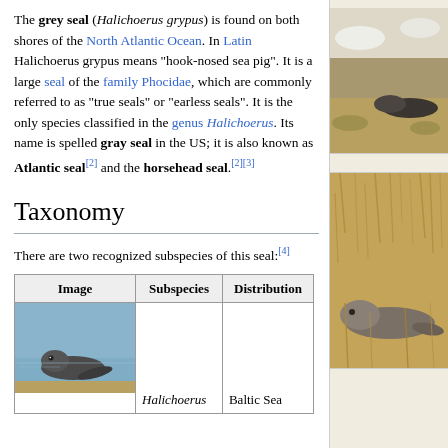The grey seal (Halichoerus grypus) is found on both shores of the North Atlantic Ocean. In Latin Halichoerus grypus means "hook-nosed sea pig". It is a large seal of the family Phocidae, which are commonly referred to as "true seals" or "earless seals". It is the only species classified in the genus Halichoerus. Its name is spelled gray seal in the US; it is also known as Atlantic seal[2] and the horsehead seal.[2][3]
Taxonomy
There are two recognized subspecies of this seal:[4]
| Image | Subspecies | Distribution |
| --- | --- | --- |
| [image of seal in water] | Halichoerus | Baltic Sea |